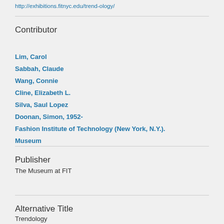http://exhibitions.fitnyc.edu/trend-ology/
Contributor
Lim, Carol
Sabbah, Claude
Wang, Connie
Cline, Elizabeth L.
Silva, Saul Lopez
Doonan, Simon, 1952-
Fashion Institute of Technology (New York, N.Y.). Museum
Publisher
The Museum at FIT
Alternative Title
Trendology